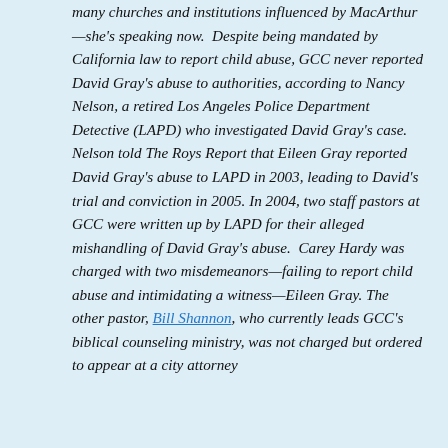many churches and institutions influenced by MacArthur—she's speaking now.  Despite being mandated by California law to report child abuse, GCC never reported David Gray's abuse to authorities, according to Nancy Nelson, a retired Los Angeles Police Department Detective (LAPD) who investigated David Gray's case. Nelson told The Roys Report that Eileen Gray reported David Gray's abuse to LAPD in 2003, leading to David's trial and conviction in 2005. In 2004, two staff pastors at GCC were written up by LAPD for their alleged mishandling of David Gray's abuse.  Carey Hardy was charged with two misdemeanors—failing to report child abuse and intimidating a witness—Eileen Gray. The other pastor, Bill Shannon, who currently leads GCC's biblical counseling ministry, was not charged but ordered to appear at a city attorney